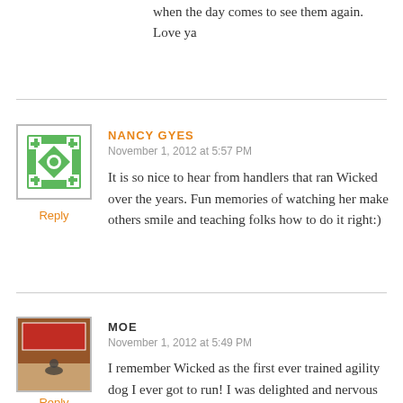when the day comes to see them again. Love ya
NANCY GYES
November 1, 2012 at 5:57 PM
Reply
It is so nice to hear from handlers that ran Wicked over the years. Fun memories of watching her make others smile and teaching folks how to do it right:)
MOE
November 1, 2012 at 5:49 PM
Reply
I remember Wicked as the first ever trained agility dog I ever got to run! I was delighted and nervous the first time I ran her but it was fun and I was so grateful to both Nancy and Wicked for their faith in me! She definitely had